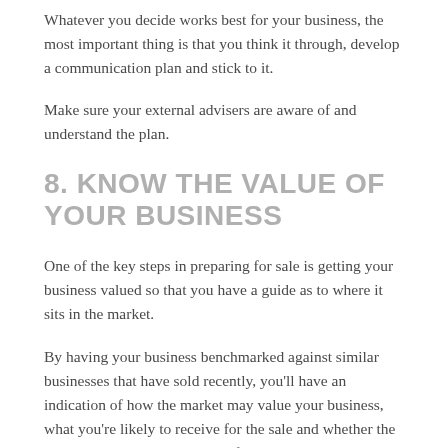Whatever you decide works best for your business, the most important thing is that you think it through, develop a communication plan and stick to it.
Make sure your external advisers are aware of and understand the plan.
8. KNOW THE VALUE OF YOUR BUSINESS
One of the key steps in preparing for sale is getting your business valued so that you have a guide as to where it sits in the market.
By having your business benchmarked against similar businesses that have sold recently, you'll have an indication of how the market may value your business, what you're likely to receive for the sale and whether the sum will provide you with the finances necessary to move on to the next chapter.